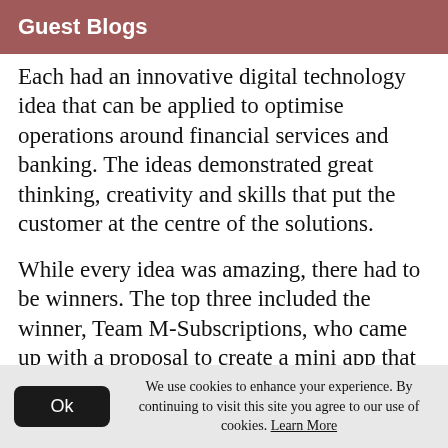Guest Blogs
Each had an innovative digital technology idea that can be applied to optimise operations around financial services and banking. The ideas demonstrated great thinking, creativity and skills that put the customer at the centre of the solutions.
While every idea was amazing, there had to be winners. The top three included the winner, Team M-Subscriptions, who came up with a proposal to create a mini app that would allow users to manage and pay for various
We use cookies to enhance your experience. By continuing to visit this site you agree to our use of cookies. Learn More